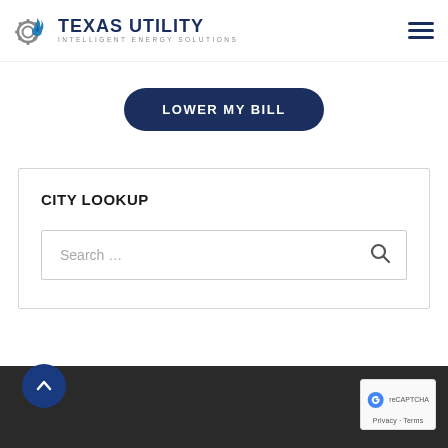[Figure (logo): Texas Utility - Intelligent Energy Solutions logo with gear and flame icons]
[Figure (other): Hamburger menu icon (three horizontal lines)]
LOWER MY BILL
CITY LOOKUP
Search …
[Figure (other): reCAPTCHA badge with Privacy and Terms links]
[Figure (other): Back to top circular button with upward arrow]